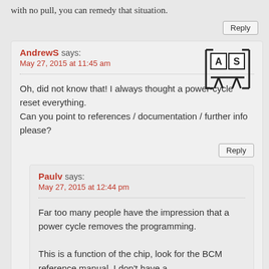with no pull, you can remedy that situation.
Reply
AndrewS says:
May 27, 2015 at 11:45 am
Oh, did not know that! I always thought a power-cycle reset everything.
Can you point to references / documentation / further info please?
Reply
Paulv says:
May 27, 2015 at 12:44 pm
Far too many people have the impression that a power cycle removes the programming.

This is a function of the chip, look for the BCM reference manual. I don't have a